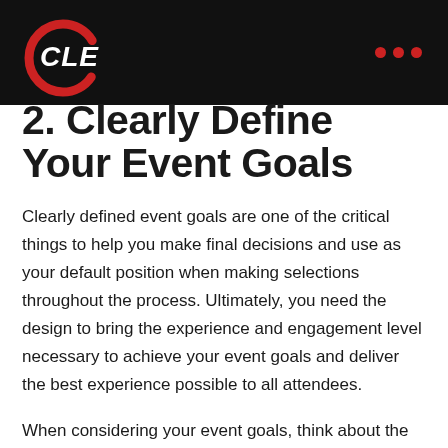CLE
2. Clearly Define Your Event Goals
Clearly defined event goals are one of the critical things to help you make final decisions and use as your default position when making selections throughout the process. Ultimately, you need the design to bring the experience and engagement level necessary to achieve your event goals and deliver the best experience possible to all attendees.
When considering your event goals, think about the many things you could do in the space. A few